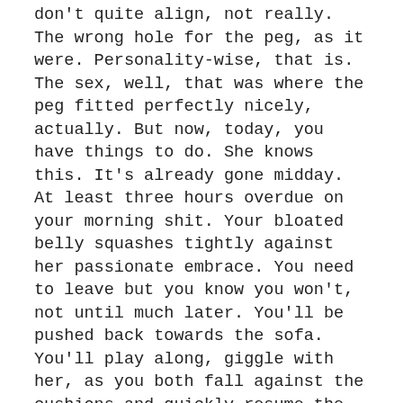don't quite align, not really. The wrong hole for the peg, as it were. Personality-wise, that is. The sex, well, that was where the peg fitted perfectly nicely, actually. But now, today, you have things to do. She knows this. It's already gone midday. At least three hours overdue on your morning shit. Your bloated belly squashes tightly against her passionate embrace. You need to leave but you know you won't, not until much later. You'll be pushed back towards the sofa. You'll play along, giggle with her, as you both fall against the cushions and quickly resume the kissing. The kissing will lead to enthusiastic hands exploring the most exciting parts of your anatomies, gradually, clumsily, revealing them to room temperature. She'll remind you the condoms are